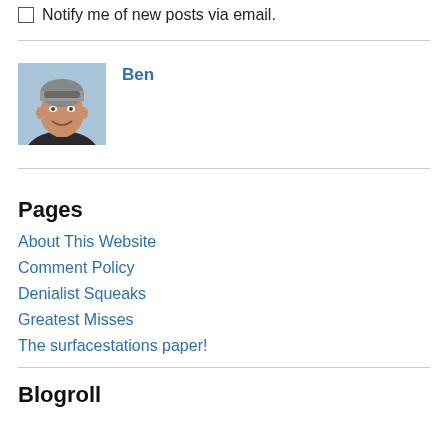Notify me of new posts via email.
[Figure (photo): Profile photo of Ben — a man with grey hair and sunglasses on his head, smiling, outdoor background]
Ben
Pages
About This Website
Comment Policy
Denialist Squeaks
Greatest Misses
The surfacestations paper!
Blogroll